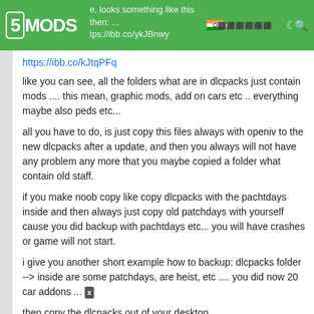5MODS | looks something like this then: ... https://ibb.co/ykJBnwy | [flag] [sign in] [icons]
https://ibb.co/kJtqPFq
like you can see, all the folders what are in dlcpacks just contain mods .... this mean, graphic mods, add on cars etc .. everything maybe also peds etc...
all you have to do, is just copy this files always with openiv to the new dlcpacks after a update, and then you always will not have any problem any more that you maybe copied a folder what contain old staff.
if you make noob copy like copy dlcpacks with the pachtdays inside and then always just copy old patchdays with yourself cause you did backup with pachtdays etc... you will have crashes or game will not start.
i give you another short example how to backup: dlcpacks folder --> inside are some patchdays, are heist, etc .... you did now 20 car addons ...
then copy the dlcpacks out of your desktop. after it...